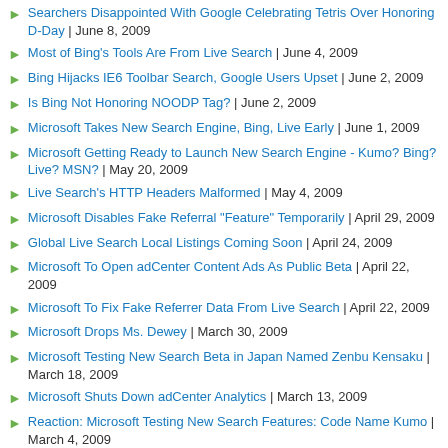Searchers Disappointed With Google Celebrating Tetris Over Honoring D-Day | June 8, 2009
Most of Bing's Tools Are From Live Search | June 4, 2009
Bing Hijacks IE6 Toolbar Search, Google Users Upset | June 2, 2009
Is Bing Not Honoring NOODP Tag? | June 2, 2009
Microsoft Takes New Search Engine, Bing, Live Early | June 1, 2009
Microsoft Getting Ready to Launch New Search Engine - Kumo? Bing? Live? MSN? | May 20, 2009
Live Search's HTTP Headers Malformed | May 4, 2009
Microsoft Disables Fake Referral "Feature" Temporarily | April 29, 2009
Global Live Search Local Listings Coming Soon | April 24, 2009
Microsoft To Open adCenter Content Ads As Public Beta | April 22, 2009
Microsoft To Fix Fake Referrer Data From Live Search | April 22, 2009
Microsoft Drops Ms. Dewey | March 30, 2009
Microsoft Testing New Search Beta in Japan Named Zenbu Kensaku | March 18, 2009
Microsoft Shuts Down adCenter Analytics | March 13, 2009
Reaction: Microsoft Testing New Search Features: Code Name Kumo | March 4, 2009
Webmasters Skeptical But Loving New Canonical Search Engine Tag | February 13, 2009
Did Microsoft's European adCenter Rep Boycott WebmasterWorld? | January 29, 2009
New to Microsoft adCenter: Custom Dates on Campaigns | January 12, 2009